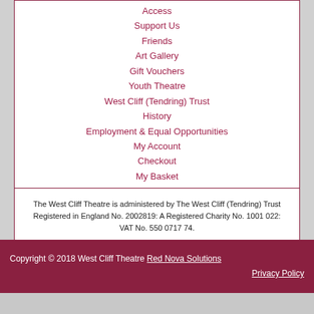Access
Support Us
Friends
Art Gallery
Gift Vouchers
Youth Theatre
West Cliff (Tendring) Trust
History
Employment & Equal Opportunities
My Account
Checkout
My Basket
Contact Us
The West Cliff Theatre is administered by The West Cliff (Tendring) Trust Registered in England No. 2002819: A Registered Charity No. 1001 022: VAT No. 550 0717 74.
[Figure (logo): SecureTrust Trusted Commerce CLICK TO VALIDATE badge]
Copyright © 2018 West Cliff Theatre Red Nova Solutions  Privacy Policy